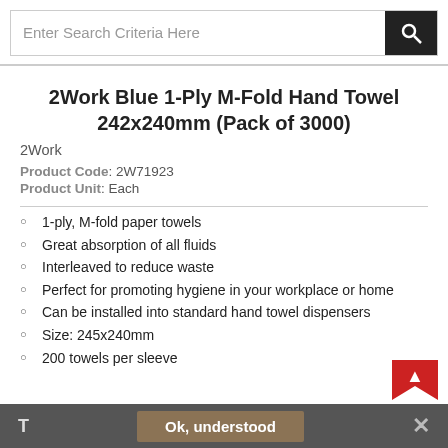Enter Search Criteria Here
2Work Blue 1-Ply M-Fold Hand Towel 242x240mm (Pack of 3000)
2Work
Product Code: 2W71923
Product Unit: Each
1-ply, M-fold paper towels
Great absorption of all fluids
Interleaved to reduce waste
Perfect for promoting hygiene in your workplace or home
Can be installed into standard hand towel dispensers
Size: 245x240mm
200 towels per sleeve
T   Ok, understood   ✕